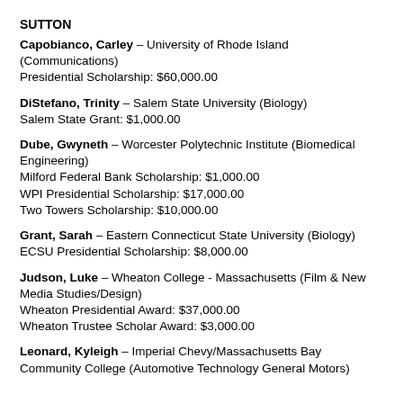SUTTON
Capobianco, Carley – University of Rhode Island (Communications)
Presidential Scholarship: $60,000.00
DiStefano, Trinity – Salem State University (Biology)
Salem State Grant: $1,000.00
Dube, Gwyneth – Worcester Polytechnic Institute (Biomedical Engineering)
Milford Federal Bank Scholarship: $1,000.00
WPI Presidential Scholarship: $17,000.00
Two Towers Scholarship: $10,000.00
Grant, Sarah – Eastern Connecticut State University (Biology)
ECSU Presidential Scholarship: $8,000.00
Judson, Luke – Wheaton College - Massachusetts (Film & New Media Studies/Design)
Wheaton Presidential Award: $37,000.00
Wheaton Trustee Scholar Award: $3,000.00
Leonard, Kyleigh – Imperial Chevy/Massachusetts Bay Community College (Automotive Technology General Motors)